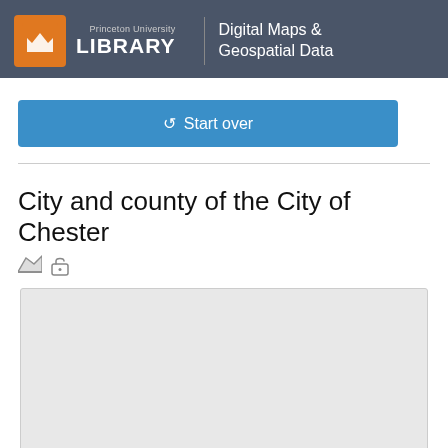Princeton University LIBRARY — Digital Maps & Geospatial Data
Start over
City and county of the City of Chester
[Figure (map): Map preview area showing a light gray placeholder box for the City of Chester map]
Icons indicating map type and open access